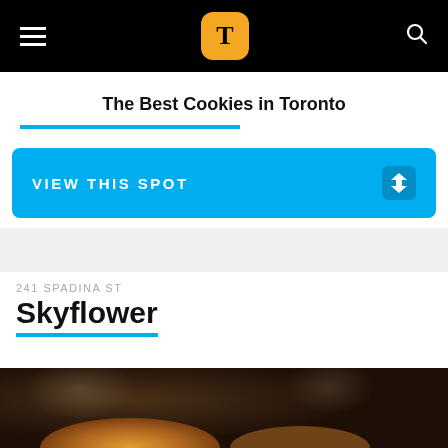T (Tastemade / Toronto app logo)
The Best Cookies in Toronto
VIEW THIS SPOT
241 SPADINA ST
Skyflower
[Figure (photo): Close-up photo of a cookie on a dark brown background with bokeh light reflections]